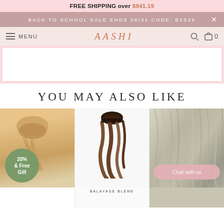FREE SHIPPING over $941.19
BACK TO SCHOOL SALE ENDS 08/31 CODE: B2S25
MENU | AASHI | 0
[Figure (screenshot): White content area with pink border placeholder]
YOU MAY ALSO LIKE
[Figure (photo): Hair extension clip-in bundle in golden brown color with green badge reading 20% & Free Gift]
[Figure (photo): Balayage blend hair extension in dark brown to medium brown ombre, wavy]
[Figure (photo): Blonde/ash hair extension close-up texture with Chat with us button overlay]
BALAYAGE BLEND